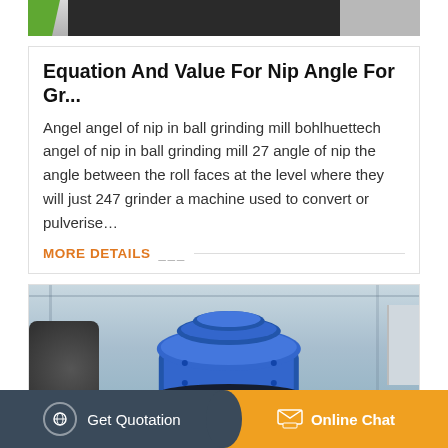[Figure (photo): Top portion of industrial grinding machine, partially visible at top of page]
Equation And Value For Nip Angle For Gr…
Angel angel of nip in ball grinding mill bohlhuettech angel of nip in ball grinding mill 27 angle of nip the angle between the roll faces at the level where they will just 247 grinder a machine used to convert or pulverise…
MORE DETAILS
[Figure (photo): Industrial blue cone crusher / grinding machine with orange hydraulic cylinders, in a factory setting]
Get Quotation
Online Chat